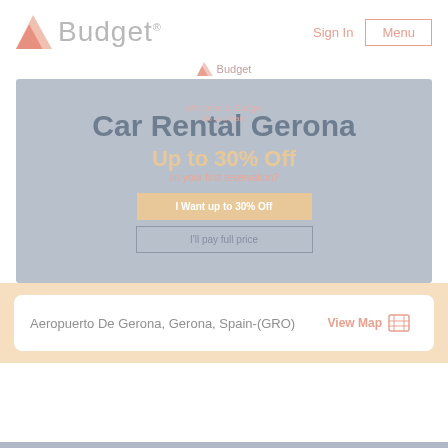[Figure (logo): Budget car rental logo with orange/pink chevron icon and grey 'Budget' wordmark]
Sign In
Menu
[Figure (logo): Small Budget logo with mini chevron icon and 'Budget' text]
[Figure (infographic): Hero banner with bluish-grey background. Large text: 'Car Rental Gerona'. Below: 'Up to 30% Off'. Subtext: 'on your first reservation?'. Two buttons: 'I Want up to 30% Off' and 'I'll pay full price'.]
Aeropuerto De Gerona, Gerona, Spain-(GRO)
View Map